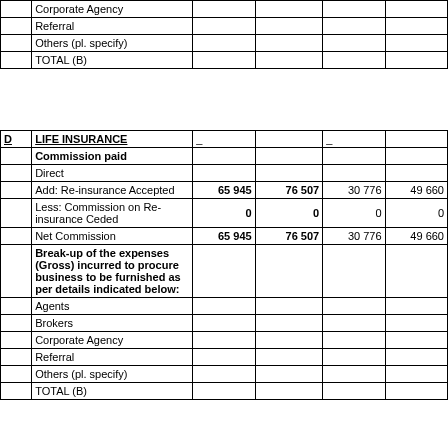|  |  |  |  |  |  |
| --- | --- | --- | --- | --- | --- |
|  | Corporate Agency |  |  |  |  |
|  | Referral |  |  |  |  |
|  | Others (pl. specify) |  |  |  |  |
|  | TOTAL (B) |  |  |  |  |
| D | LIFE INSURANCE |  |  |  |  |
| --- | --- | --- | --- | --- | --- |
|  | Commission paid |  |  |  |  |
|  | Direct |  |  |  |  |
|  | Add: Re-insurance Accepted | 65 945 | 76 507 | 30 776 | 49 660 |
|  | Less: Commission on Re-insurance Ceded | 0 | 0 | 0 | 0 |
|  | Net Commission | 65 945 | 76 507 | 30 776 | 49 660 |
|  | Break-up of the expenses (Gross) incurred to procure business to be furnished as per details indicated below: |  |  |  |  |
|  | Agents |  |  |  |  |
|  | Brokers |  |  |  |  |
|  | Corporate Agency |  |  |  |  |
|  | Referral |  |  |  |  |
|  | Others (pl. specify) |  |  |  |  |
|  | TOTAL (B) |  |  |  |  |